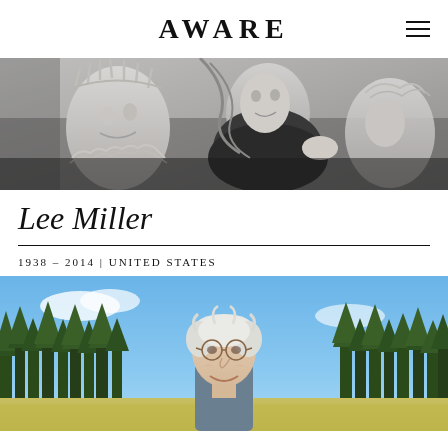AWARE
[Figure (photo): Black and white photograph showing classical sculptures with a woman in dark clothing, surrealist style composition]
Lee Miller
1938 – 2014 | UNITED STATES
[Figure (photo): Color photograph of an older woman with white hair and glasses, standing outdoors with pine trees and blue sky in background]